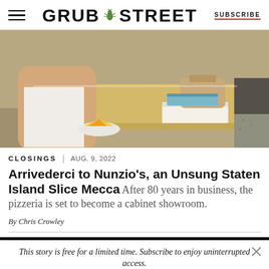GRUB STREET | SUBSCRIBE
[Figure (photo): Person eating pizza at a yellow counter with a pizza box and bag on the table]
CLOSINGS | AUG. 9, 2022
Arrivederci to Nunzio's, an Unsung Staten Island Slice Mecca After 80 years in business, the pizzeria is set to become a cabinet showroom.
By Chris Crowley
This story is free for a limited time. Subscribe to enjoy uninterrupted access. START YOUR TRIAL TODAY.